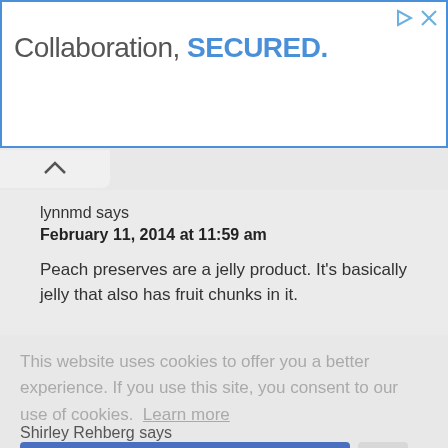[Figure (screenshot): Advertisement banner with blue border reading 'Collaboration, SECURED.' with play and close icons]
lynnmd says
February 11, 2014 at 11:59 am
Peach preserves are a jelly product. It's basically jelly that also has fruit chunks in it.
This website uses cookies to offer you a better experience. If you use this site, you consent to our use of cookies. Learn more
I Agree
Shirley Rehberg says